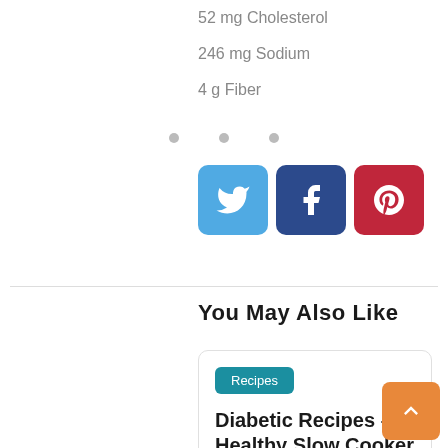52 mg Cholesterol
246 mg Sodium
4 g Fiber
[Figure (other): Three dot separator / ellipsis decoration]
[Figure (other): Social share buttons: Twitter (blue), Facebook (dark blue), Pinterest (red)]
You May Also Like
Recipes
Diabetic Recipes – Healthy Slow Cooker Meals